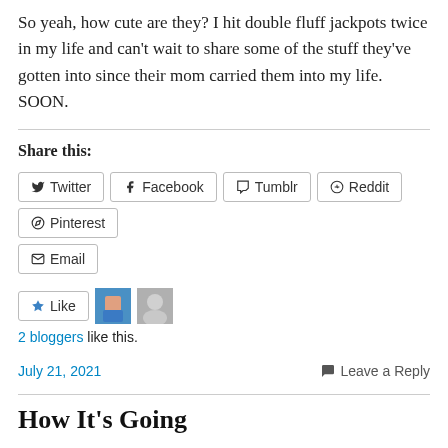So yeah, how cute are they? I hit double fluff jackpots twice in my life and can't wait to share some of the stuff they've gotten into since their mom carried them into my life. SOON.
Share this:
[Figure (screenshot): Social sharing buttons: Twitter, Facebook, Tumblr, Reddit, Pinterest, Email]
[Figure (screenshot): Like button with 2 blogger avatars; 2 bloggers like this.]
July 21, 2021   Leave a Reply
How It's Going